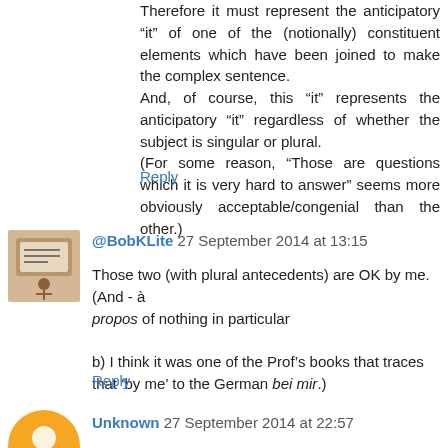Therefore it must represent the anticipatory “it” of one of the (notionally) constituent elements which have been joined to make the complex sentence.
And, of course, this “it” represents the anticipatory “it” regardless of whether the subject is singular or plural.
(For some reason, “Those are questions which it is very hard to answer” seems more obviously acceptable/congenial than the other.)
Reply
@BobKLite 27 September 2014 at 13:15
Those two (with plural antecedents) are OK by me. (And - à propos of nothing in particular

b) I think it was one of the Prof’s books that traces that ‘by me’ to the German bei mir.)
Reply
Unknown 27 September 2014 at 22:57